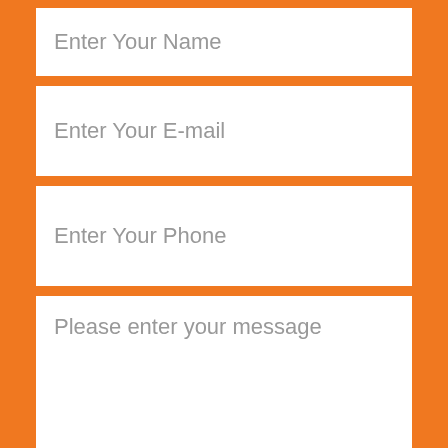Enter Your Name
Enter Your E-mail
Enter Your Phone
Please enter your message
Submit